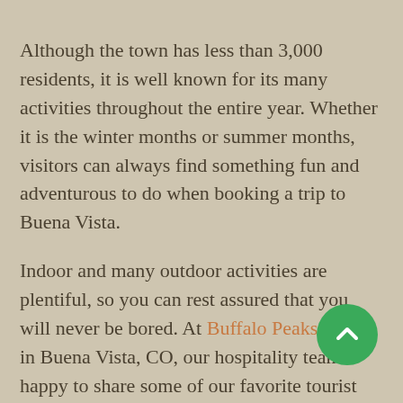Although the town has less than 3,000 residents, it is well known for its many activities throughout the entire year. Whether it is the winter months or summer months, visitors can always find something fun and adventurous to do when booking a trip to Buena Vista.
Indoor and many outdoor activities are plentiful, so you can rest assured that you will never be bored. At Buffalo Peaks Lodge in Buena Vista, CO, our hospitality team is happy to share some of our favorite tourist destinations and all of the exciting adventures that await you. From the Buena Vista Heritage Museum to the Collegiate Peaks Wilderness Area and everywhere in between, we know that you will certainly provide a wide variety of places to go and activities in which to participate.
[Figure (other): Green circular scroll-up button with white chevron arrow]